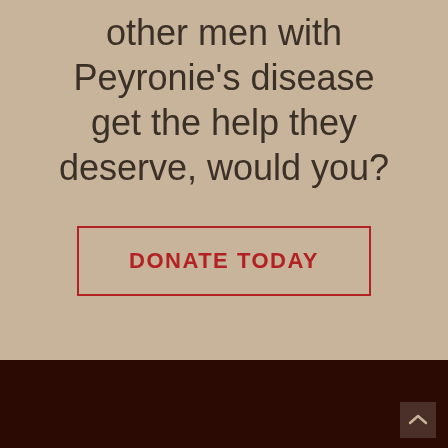other men with Peyronie's disease get the help they deserve, would you?
DONATE TODAY